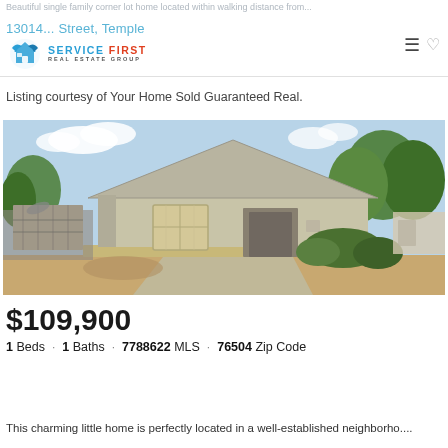Beautiful single family corner lot home located within walking distance from...
13014... Street, Temple
[Figure (logo): Service First Real Estate Group logo with bird icon]
Listing courtesy of Your Home Sold Guaranteed Real.
[Figure (photo): Exterior photo of a single-story beige/gray siding house with a peaked roof, front window, trees, and shrubs on a sunny day]
$109,900
1 Beds · 1 Baths · 7788622 MLS · 76504 Zip Code
This charming little home is perfectly located in a well-established neighborho....